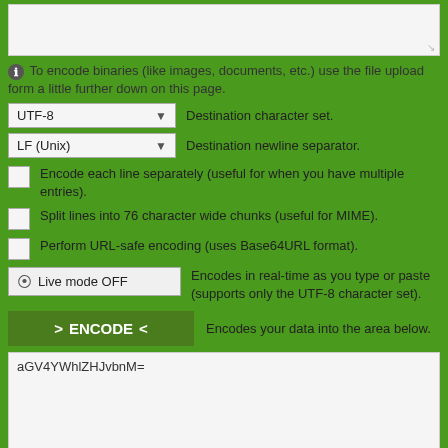[Figure (screenshot): Text area input box (top, partially visible, empty with resize handle)]
To encode binaries (like images, documents, etc.) use the file upload form a little further down on this page.
[Figure (screenshot): Dropdown selector showing UTF-8 with down arrow]
Destination character set.
[Figure (screenshot): Dropdown selector showing LF (Unix) with down arrow]
Destination newline separator.
Encode each line separately (useful for when you have multiple entries).
Split lines into 76 character wide chunks (useful for MIME).
Perform URL-safe encoding (uses Base64URL format).
[Figure (screenshot): Toggle button showing Live mode OFF]
Encodes in real-time as you type or paste (supports only the UTF-8 character set).
[Figure (screenshot): Green ENCODE button with angle bracket chevrons]
Encodes your data into the area below.
aGV4YWhlZHJvbnM=
[Figure (screenshot): Output textarea showing encoded base64 result]